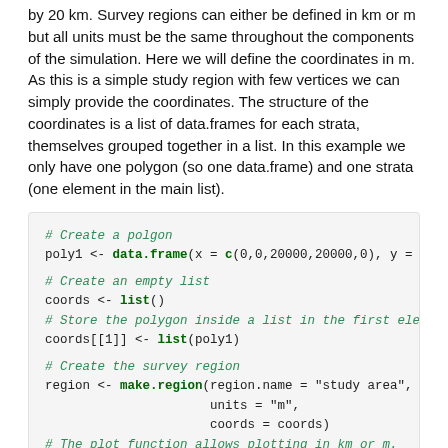by 20 km. Survey regions can either be defined in km or m but all units must be the same throughout the components of the simulation. Here we will define the coordinates in m. As this is a simple study region with few vertices we can simply provide the coordinates. The structure of the coordinates is a list of data.frames for each strata, themselves grouped together in a list. In this example we only have one polygon (so one data.frame) and one strata (one element in the main list).
# Create a polgon
poly1 <- data.frame(x = c(0,0,20000,20000,0), y = c(0,

# Create an empty list
coords <- list()
# Store the polygon inside a list in the first element
coords[[1]] <- list(poly1)

# Create the survey region
region <- make.region(region.name = "study area",
                      units = "m",
                      coords = coords)
# The plot function allows plotting in km or m.
plot(region, plot.units = "km")